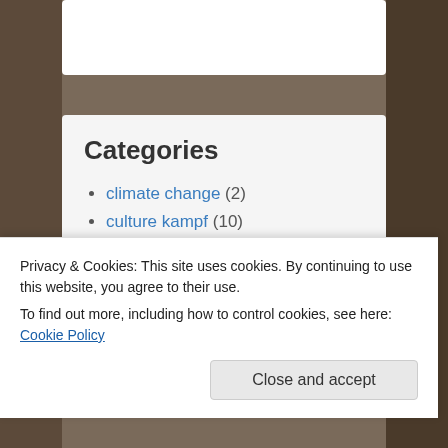Categories
climate change (2)
culture kampf (10)
democracy (21)
economics (18)
environment (5)
gender (14)
media (13)
politics (22)
Privacy & Cookies: This site uses cookies. By continuing to use this website, you agree to their use.
To find out more, including how to control cookies, see here: Cookie Policy
Close and accept